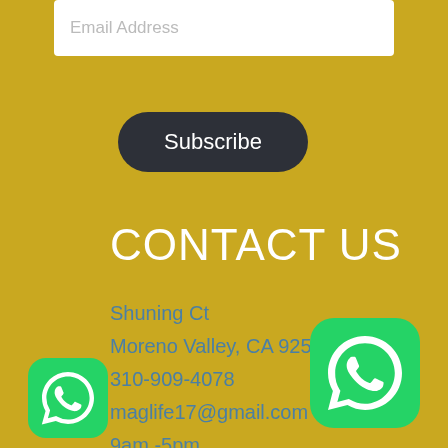Email Address
Subscribe
CONTACT US
Shuning Ct
Moreno Valley, CA 92551
310-909-4078
maglife17@gmail.com
9am -5pm
Monday through Friday
[Figure (logo): WhatsApp logo icon, green rounded square with white phone handset in speech bubble, small version bottom left]
[Figure (logo): WhatsApp logo icon, green rounded square with white phone handset in speech bubble, large version bottom right]